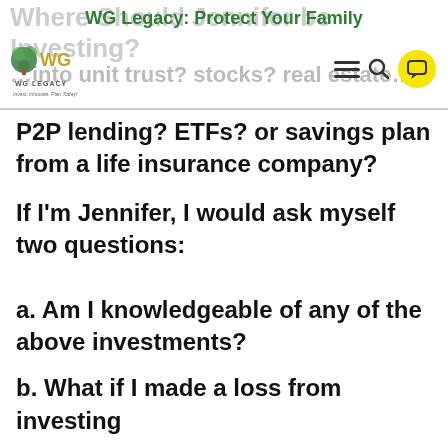WG Legacy: Protect Your Family
Where Should Jennifer be Investing?
into unit trust? stocks? real estate? P2P lending? ETFs? or savings plan from a life insurance company?
If I'm Jennifer, I would ask myself two questions:
a. Am I knowledgeable of any of the above investments?
b. What if I made a loss from investing